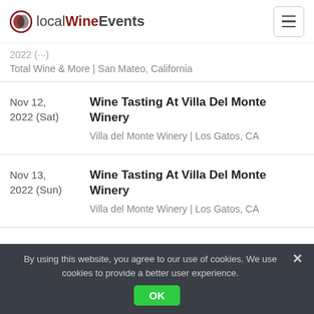localWineEvents
2022 (...) | Total Wine & More | San Mateo, California
Nov 12, 2022 (Sat) — Wine Tasting At Villa Del Monte Winery | Villa del Monte Winery | Los Gatos, CA
Nov 13, 2022 (Sun) — Wine Tasting At Villa Del Monte Winery | Villa del Monte Winery | Los Gatos, CA
By using this website, you agree to our use of cookies. We use cookies to provide a better user experience. OK